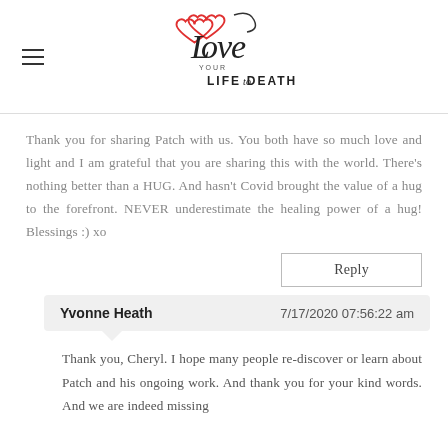Love Your Life to Death
Thank you for sharing Patch with us. You both have so much love and light and I am grateful that you are sharing this with the world. There's nothing better than a HUG. And hasn't Covid brought the value of a hug to the forefront. NEVER underestimate the healing power of a hug! Blessings :) xo
Reply
Yvonne Heath  7/17/2020 07:56:22 am
Thank you, Cheryl. I hope many people re-discover or learn about Patch and his ongoing work. And thank you for your kind words. And we are indeed missing